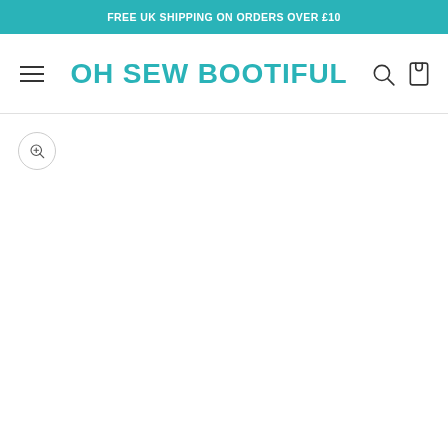FREE UK SHIPPING ON ORDERS OVER £10
OH SEW BOOTIFUL
[Figure (screenshot): E-commerce website header with teal announcement bar, OH SEW BOOTIFUL logo, hamburger menu, search icon, cart icon, and a zoom/magnify button in the product image area]